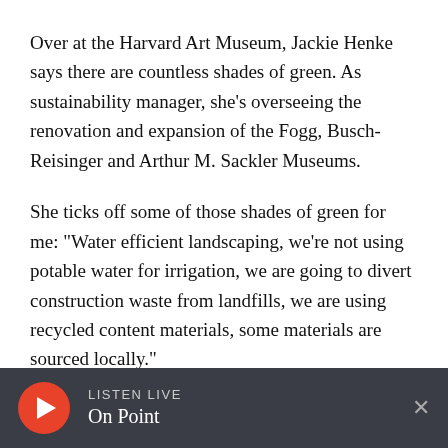Over at the Harvard Art Museum, Jackie Henke says there are countless shades of green. As sustainability manager, she's overseeing the renovation and expansion of the Fogg, Busch-Reisinger and Arthur M. Sackler Museums.
She ticks off some of those shades of green for me: "Water efficient landscaping, we're not using potable water for irrigation, we are going to divert construction waste from landfills, we are using recycled content materials, some materials are sourced locally."
LISTEN LIVE On Point